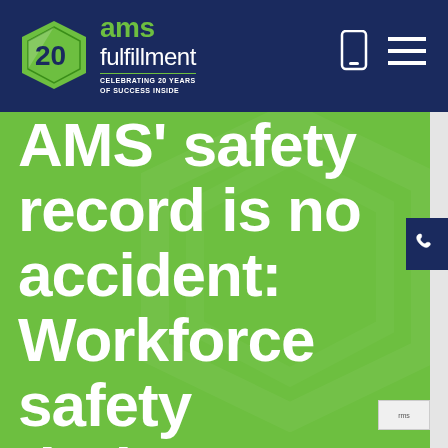[Figure (logo): AMS Fulfillment logo: hexagon shape with '20' inside and 'ams fulfillment' text with tagline 'CELEBRATING 20 YEARS OF SUCCESS INSIDE' on a navy blue header bar]
AMS' safety record is no accident: Workforce safety during COVID-19